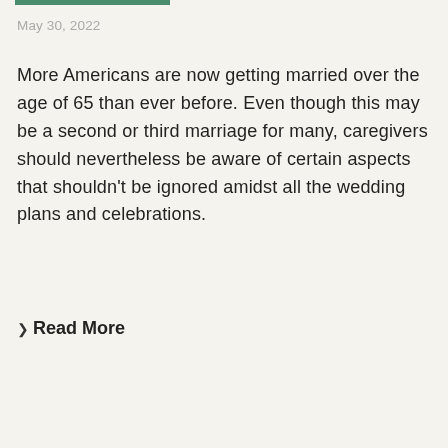May 30, 2022
More Americans are now getting married over the age of 65 than ever before. Even though this may be a second or third marriage for many, caregivers should nevertheless be aware of certain aspects that shouldn't be ignored amidst all the wedding plans and celebrations.
❯ Read More